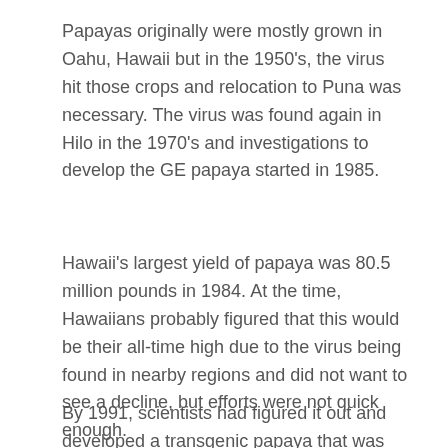Papayas originally were mostly grown in Oahu, Hawaii but in the 1950's, the virus hit those crops and relocation to Puna was necessary. The virus was found again in Hilo in the 1970's and investigations to develop the GE papaya started in 1985.
Hawaii's largest yield of papaya was 80.5 million pounds in 1984. At the time, Hawaiians probably figured that this would be their all-time high due to the virus being found in nearby regions and did not want to see a decline, but efforts were not quick enough.
By 1991, scientists had figured it out and developed a transgenic papaya that was